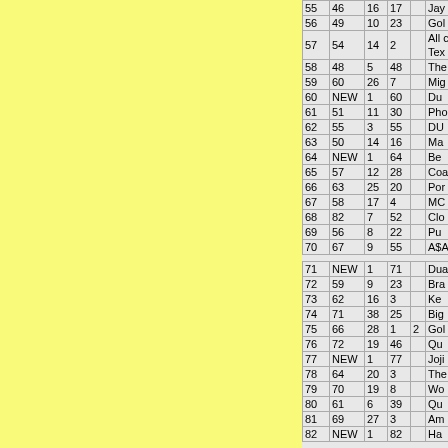| # | LW | WK | PK |  | Title |
| --- | --- | --- | --- | --- | --- |
| 55 | 46 | 16 | 17 |  | Jay... |
| 56 | 49 | 10 | 23 |  | Gol... |
| 57 | 54 | 14 | 2 |  | All... Tex... |
| 58 | 48 | 5 | 48 |  | The... |
| 59 | 60 | 26 | 7 |  | Mig... |
| 60 | NEW | 1 | 60 |  | Du... |
| 61 | 51 | 11 | 30 |  | Pho... |
| 62 | 55 | 3 | 55 |  | DU... |
| 63 | 50 | 14 | 16 |  | Ma... |
| 64 | NEW | 1 | 64 |  | Be... |
| 65 | 57 | 12 | 28 |  | Coa... |
| 66 | 63 | 25 | 20 |  | Por... |
| 67 | 58 | 17 | 4 |  | MC... |
| 68 | 82 | 7 | 52 |  | Clo... |
| 69 | 56 | 8 | 22 |  | Pu... |
| 70 | 67 | 9 | 55 |  | A$A... |
| 71 | NEW | 1 | 71 |  | Dua... |
| 72 | 59 | 9 | 23 |  | Bra... |
| 73 | 62 | 16 | 3 |  | Ke... |
| 74 | 71 | 38 | 25 |  | Big... |
| 75 | 66 | 28 | 1 | 2 | Gol... |
| 76 | 72 | 19 | 46 |  | Qu... |
| 77 | NEW | 1 | 77 |  | Joji... |
| 78 | 64 | 20 | 3 |  | The... |
| 79 | 70 | 19 | 8 |  | Wo... |
| 80 | 61 | 6 | 39 |  | Qu... |
| 81 | 69 | 27 | 3 |  | Am... |
| 82 | NEW | 1 | 82 |  | Ha... |